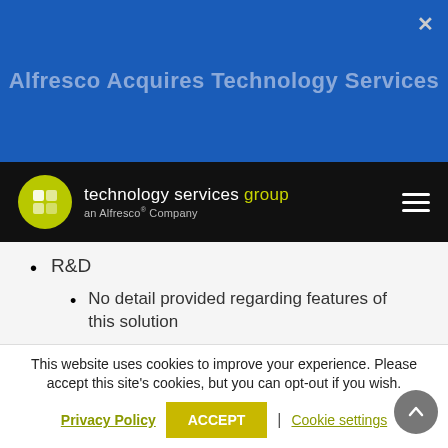[Figure (screenshot): Blue header background with close (×) button in top right and faded title text 'Alfresco Acquires Technology Services']
Alfresco Acquires Technology Services
[Figure (logo): Technology Services Group logo — yellow-green circle with white icon, text 'technology services group an Alfresco® Company' on black nav bar with hamburger menu]
R&D
No detail provided regarding features of this solution
Submission Management
This website uses cookies to improve your experience. Please accept this site's cookies, but you can opt-out if you wish.
Privacy Policy   ACCEPT   |   Cookie settings